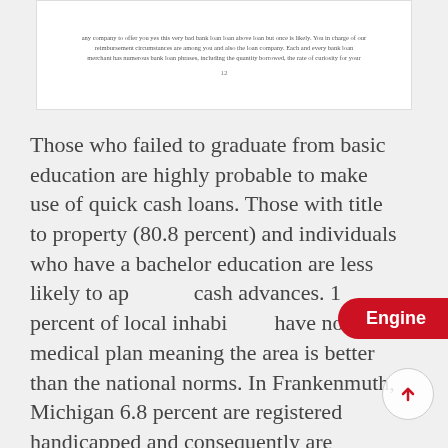[Figure (screenshot): A white content box showing partial text about bank loan reimbursement circumstances and bank loan merchant phrases, with a page number at the bottom.]
Those who failed to graduate from basic education are highly probable to make use of quick cash loans. Those with title to property (80.8 percent) and individuals who have a bachelor education are less likely to apply for cash advances. 1 percent of local inhabitants have no a medical plan meaning the area is better than the national norms. In Frankenmuth, Michigan 6.8 percent are registered handicapped and consequently are entitled to federal health support. 2.8 percent of local inhabitants have no health insurance meaning the area is better than the US average. Individuals who haven't succeeded to graduate from elementary education are quite